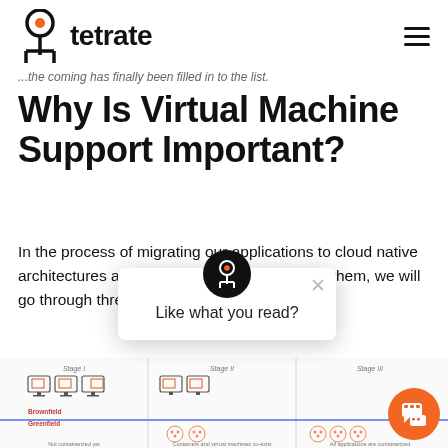tetrate
...the coming has finally been filled in to the list.
Why Is Virtual Machine Support Important?
In the process of migrating our applications to cloud native architectures and continuously containerizing them, we will go through three phases as shown in the
[Figure (infographic): Diagram showing three stages: Stage I (Brownfield - Not containerized yet), Stage II (Containers and virtual machines co-exist, Greenfield), Stage III (All applications are containerized). Each stage shows monitor/container icons.]
[Figure (other): Popup dialog with Tetrate logo icon asking 'Like what you read?' with a close X button]